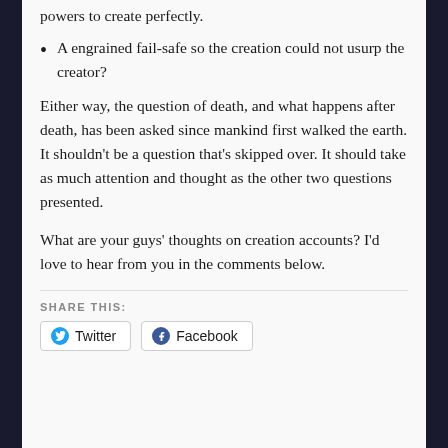powers to create perfectly.
A engrained fail-safe so the creation could not usurp the creator?
Either way, the question of death, and what happens after death, has been asked since mankind first walked the earth. It shouldn't be a question that's skipped over. It should take as much attention and thought as the other two questions presented.
What are your guys' thoughts on creation accounts? I'd love to hear from you in the comments below.
SHARE THIS:
Twitter  Facebook